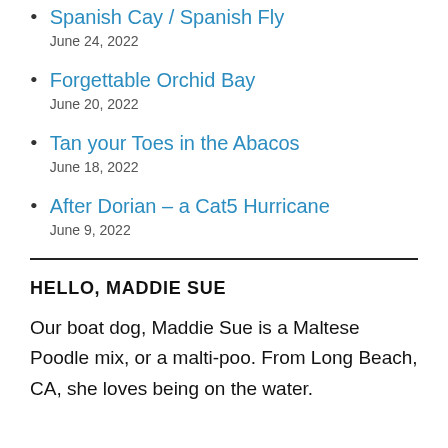Spanish Cay / Spanish Fly
June 24, 2022
Forgettable Orchid Bay
June 20, 2022
Tan your Toes in the Abacos
June 18, 2022
After Dorian – a Cat5 Hurricane
June 9, 2022
HELLO, MADDIE SUE
Our boat dog, Maddie Sue is a Maltese Poodle mix, or a malti-poo. From Long Beach, CA, she loves being on the water.